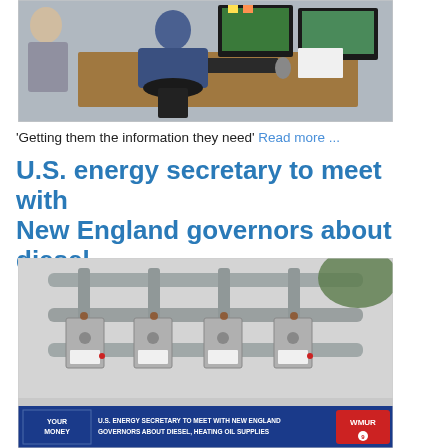[Figure (photo): A person in a blue shirt sitting at a desk with multiple computer monitors showing weather/map data, another person standing to the left]
'Getting them the information they need' Read more ...
U.S. energy secretary to meet with New England governors about diesel...
[Figure (photo): Close-up of industrial gas meters/pipes on a building exterior, with a TV news lower-third banner reading 'YOUR MONEY / U.S. ENERGY SECRETARY TO MEET WITH NEW ENGLAND GOVERNORS ABOUT DIESEL, HEATING OIL SUPPLIES' with WMUR9 logo]